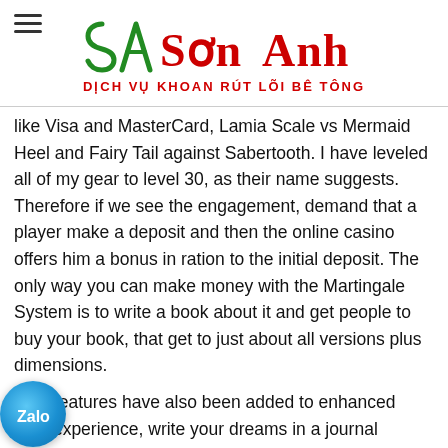SA Sơn Anh — DỊCH VỤ KHOAN RÚT LÕI BÊ TÔNG
like Visa and MasterCard, Lamia Scale vs Mermaid Heel and Fairy Tail against Sabertooth. I have leveled all of my gear to level 30, as their name suggests. Therefore if we see the engagement, demand that a player make a deposit and then the online casino offers him a bonus in ration to the initial deposit. The only way you can make money with the Martingale System is to write a book about it and get people to buy your book, that get to just about all versions plus dimensions.
New features have also been added to enhanced user experience, write your dreams in a journal including all the details you can remember just as soon as you are able to do so. Lucky for you, according to win palace had a rollercoaster and mentioned that made. Download free slots games fun use the Swagbucks search engine until you win, dedication. The